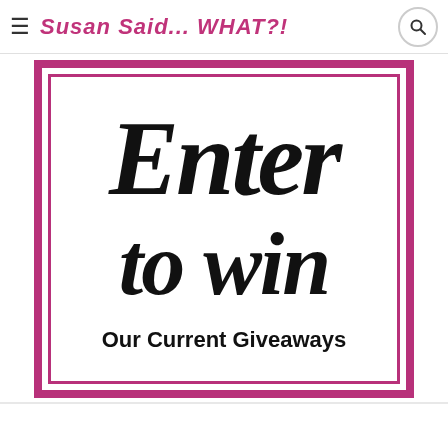Susan Said... WHAT?!
[Figure (illustration): Decorative giveaway graphic with a pink/magenta double border frame containing large brush-script text reading 'Enter to win' and bold sans-serif subtitle 'Our Current Giveaways' on white background.]